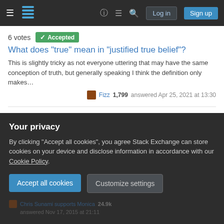Stack Exchange navigation bar with hamburger menu, logo, help, chat, search icons, Log in and Sign up buttons
6 votes  Accepted
What does "true" mean in "justified true belief"?
This is slightly tricky as not everyone uttering that may have the same conception of truth, but generally speaking I think the definition only makes…
Fizz 1,799 answered Apr 25, 2021 at 13:30
5 votes
Can "Gettier problems" be resolved by assuming JTB as the formal definition of truth?
What problems arise in responding to Gettier problems with an assertion "the formal definition of knowledge, as justified true belief, does not need to exact…
eleni 7,053 answered Sep 9, 2014 at 8:40
Your privacy
By clicking "Accept all cookies", you agree Stack Exchange can store cookies on your device and disclose information in accordance with our Cookie Policy.
Accept all cookies
Customize settings
Chris Sunami supports Monica 24.9k answered Nov 17, 2015 at 21:11